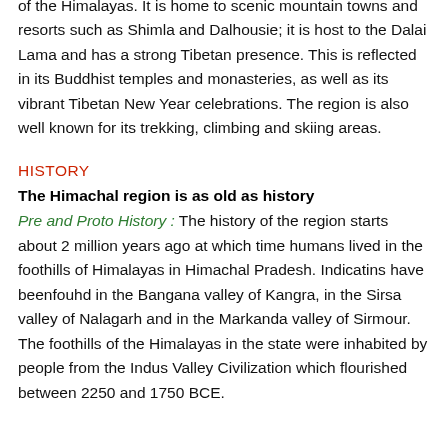of the Himalayas. It is home to scenic mountain towns and resorts such as Shimla and Dalhousie; it is host to the Dalai Lama and has a strong Tibetan presence. This is reflected in its Buddhist temples and monasteries, as well as its vibrant Tibetan New Year celebrations. The region is also well known for its trekking, climbing and skiing areas.
HISTORY
The Himachal region is as old as history
Pre and Proto History : The history of the region starts about 2 million years ago at which time humans lived in the foothills of Himalayas in Himachal Pradesh. Indicatins have beenfouhd in the Bangana valley of Kangra, in the Sirsa valley of Nalagarh and in the Markanda valley of Sirmour. The foothills of the Himalayas in the state were inhabited by people from the Indus Valley Civilization which flourished between 2250 and 1750 BCE.